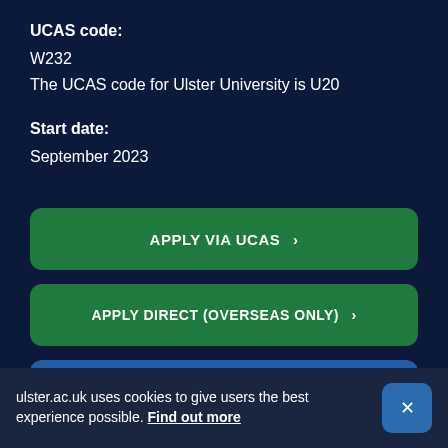UCAS code:
W232
The UCAS code for Ulster University is U20
Start date:
September 2023
APPLY VIA UCAS >
APPLY DIRECT (OVERSEAS ONLY) >
GET YOUR PROSPECTUS >
ulster.ac.uk uses cookies to give users the best experience possible. Find out more